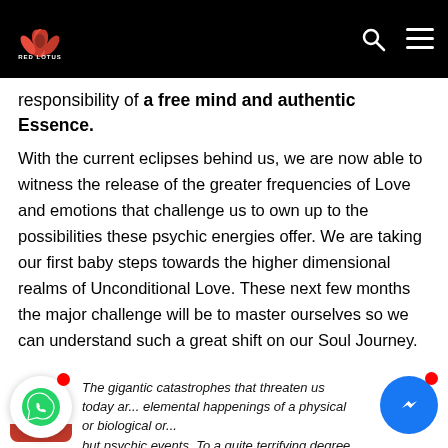Red Lotus [logo]
responsibility of a free mind and authentic Essence.
With the current eclipses behind us, we are now able to witness the release of the greater frequencies of Love and emotions that challenge us to own up to the possibilities these psychic energies offer. We are taking our first baby steps towards the higher dimensional realms of Unconditional Love. These next few months the major challenge will be to master ourselves so we can understand such a great shift on our Soul Journey.
The gigantic catastrophes that threaten us today are elemental happenings of a physical or biological order but psychic events. To a quite terrifying degree we are...